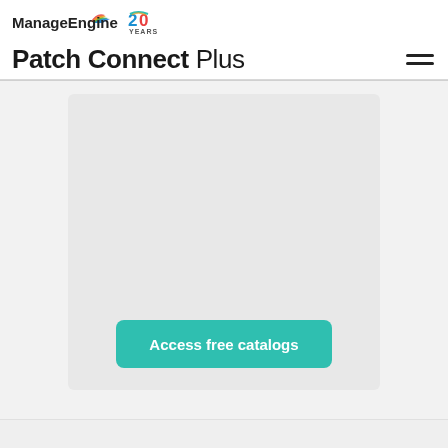ManageEngine 20 YEARS
Patch Connect Plus
[Figure (screenshot): Light gray card/panel with a teal 'Access free catalogs' button at the bottom center]
Access free catalogs